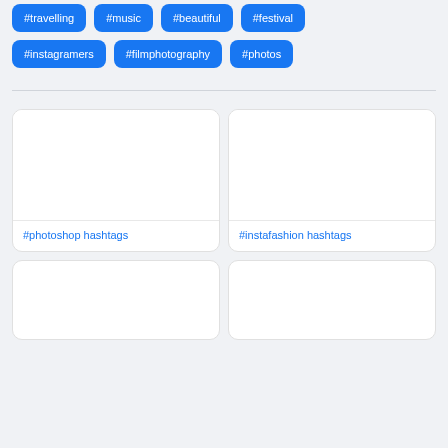#travelling
#music
#beautiful
#festival
#instagramers
#filmphotography
#photos
[Figure (screenshot): Empty white card placeholder image]
#photoshop hashtags
[Figure (screenshot): Empty white card placeholder image]
#instafashion hashtags
[Figure (screenshot): Empty white card placeholder image at bottom left]
[Figure (screenshot): Empty white card placeholder image at bottom right]